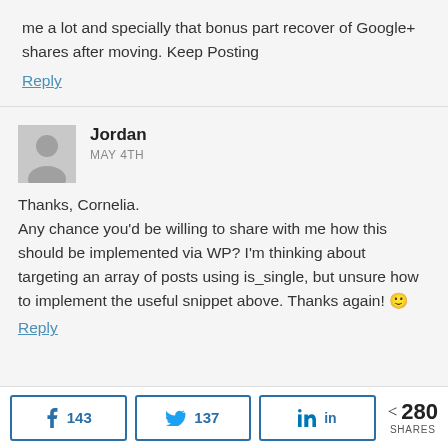me a lot and specially that bonus part recover of Google+ shares after moving. Keep Posting
Reply
Jordan
MAY 4TH
Thanks, Cornelia. Any chance you'd be willing to share with me how this should be implemented via WP? I'm thinking about targeting an array of posts using is_single, but unsure how to implement the useful snippet above. Thanks again! 🙂
Reply
f 143  🐦 137  in  < 280 SHARES